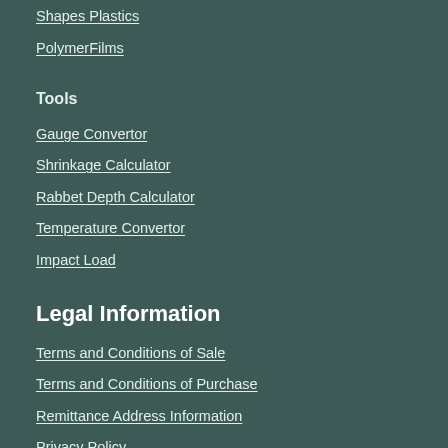Shapes Plastics
PolymerFilms
Tools
Gauge Convertor
Shrinkage Calculator
Rabbet Depth Calculator
Temperature Convertor
Impact Load
Legal Information
Terms and Conditions of Sale
Terms and Conditions of Purchase
Remittance Address Information
Privacy Policy